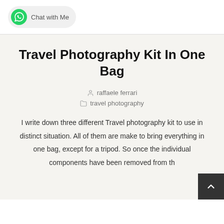[Figure (other): WhatsApp Chat with Me button with green WhatsApp logo icon and rounded pill-shaped background]
Travel Photography Kit In One Bag
raffaele ferrari
travel photography
I write down three different Travel photography kit to use in distinct situation. All of them are make to bring everything in one bag, except for a tripod. So once the individual components have been removed from th